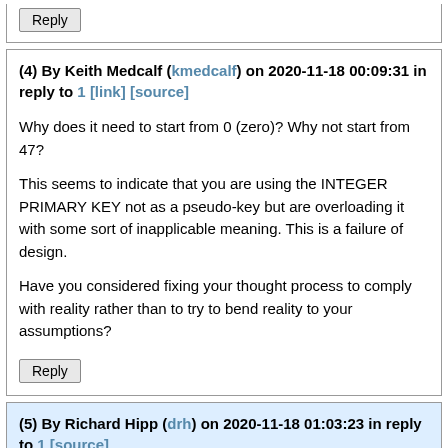Reply
(4) By Keith Medcalf (kmedcalf) on 2020-11-18 00:09:31 in reply to 1 [link] [source]
Why does it need to start from 0 (zero)? Why not start from 47?

This seems to indicate that you are using the INTEGER PRIMARY KEY not as a pseudo-key but are overloading it with some sort of inapplicable meaning. This is a failure of design.

Have you considered fixing your thought process to comply with reality rather than to try to bend reality to your assumptions?
Reply
(5) By Richard Hipp (drh) on 2020-11-18 01:03:23 in reply to 1 [source]
Here is a patch:
Index: src/vdbe.c
================================================================